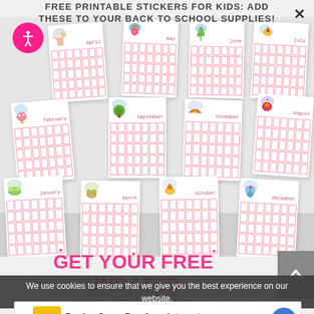FREE PRINTABLE STICKERS FOR KIDS: ADD THESE TO YOUR BACK TO SCHOOL SUPPLIES!
[Figure (illustration): Collection of 12 cute illustrated monthly calendar printables arranged in a fan/stack layout. Each card shows a whimsical illustration (butterfly, bird, tree, chick, bee, flower, snail, ladybug, rainbow) with a month name written in script and a pink grid calendar below. Months visible: april, may, june, july, february, september, november, august, january, march, october, december.]
GET YOUR FREE UNDATED CALENDARS
We use cookies to ensure that we give you the best experience on our website.
Join Our Mailing List to Receive the Latest Printables